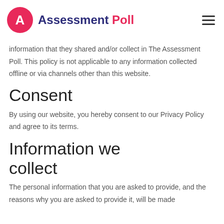Assessment Poll
information that they shared and/or collect in The Assessment Poll. This policy is not applicable to any information collected offline or via channels other than this website.
Consent
By using our website, you hereby consent to our Privacy Policy and agree to its terms.
Information we collect
The personal information that you are asked to provide, and the reasons why you are asked to provide it, will be made